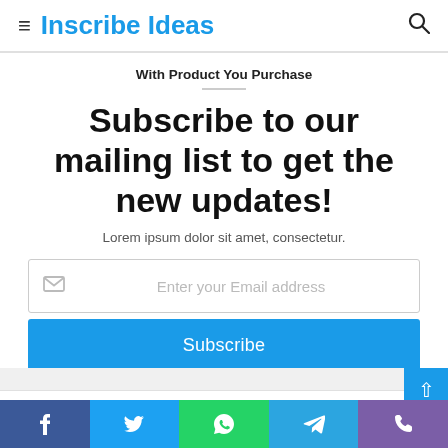Inscribe Ideas
With Product You Purchase
Subscribe to our mailing list to get the new updates!
Lorem ipsum dolor sit amet, consectetur.
[Figure (screenshot): Email subscription form with placeholder text 'Enter your Email address' and envelope icon]
[Figure (screenshot): Blue Subscribe button]
[Figure (screenshot): Social media bar with Facebook, Twitter, WhatsApp, Telegram, and Phone icons]